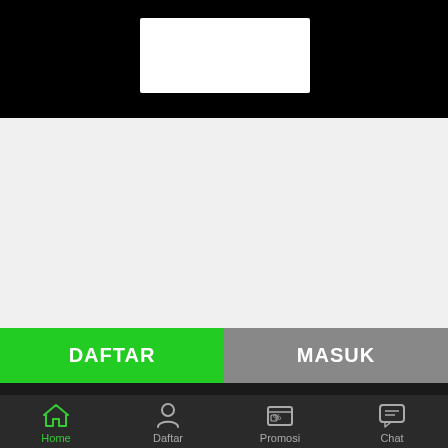[Figure (screenshot): Mobile gambling app interface with black header containing white logo box, light gray content area, green DAFTAR and gray MASUK buttons, game category icons (Slots, Arcade, Poker, Casino) on dark background, and bottom navigation bar with Home, Daftar, Promosi, Chat]
DAFTAR
MASUK
Slots
Arcade
Poker
Casino
Home  Daftar  Promosi  Chat